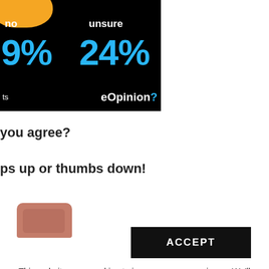[Figure (infographic): Black background infographic showing poll results: 'no 9% unsure 24%' with blue percentage text and eOpinion branding, orange blob graphic at top left]
you agree?
ps up or thumbs down!
[Figure (photo): Partial view of a thumbs image with pinkish-brown color at bottom left]
ACCEPT
This website uses cookies to improve your experience. We'll assume you're ok with this, but you can opt-out if you wish by clicking on the settings. Cookie settings